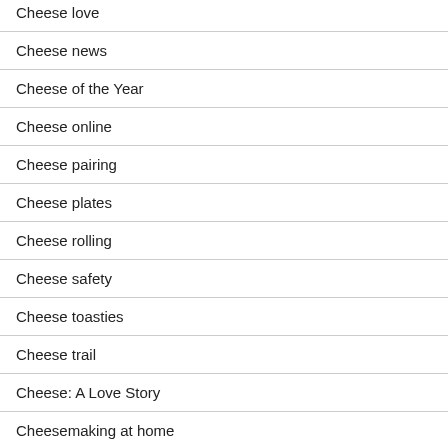Cheese love
Cheese news
Cheese of the Year
Cheese online
Cheese pairing
Cheese plates
Cheese rolling
Cheese safety
Cheese toasties
Cheese trail
Cheese: A Love Story
Cheesemaking at home